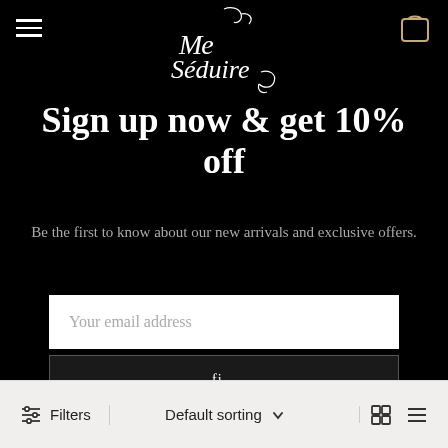Me Séduire — navigation with hamburger menu and cart icon
[Figure (logo): Me Séduire cursive script logo in white on black background]
Sign up now & get 10% off
Be the first to know about our new arrivals and exclusive offers.
Your email address
fi...
Filters   Default sorting   grid/list view icons